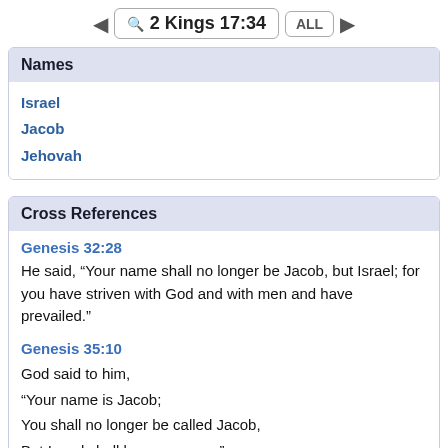2 Kings 17:34
Names
Israel
Jacob
Jehovah
Cross References
Genesis 32:28
He said, “Your name shall no longer be Jacob, but Israel; for you have striven with God and with men and have prevailed.”
Genesis 35:10
God said to him,
“Your name is Jacob;
You shall no longer be called Jacob,
But Israel shall be your name.”
Thus He called him Israel.